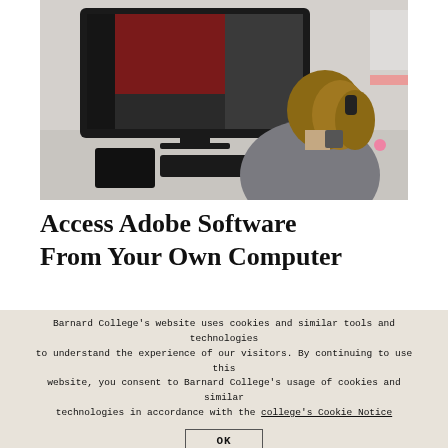[Figure (photo): Woman seen from behind sitting at a desk working on a large iMac monitor displaying design/code software. A keyboard and tablet are on the desk. Bright office environment.]
Access Adobe Software From Your Own Computer
Barnard College's website uses cookies and similar tools and technologies to understand the experience of our visitors. By continuing to use this website, you consent to Barnard College's usage of cookies and similar technologies in accordance with the college's Cookie Notice
OK